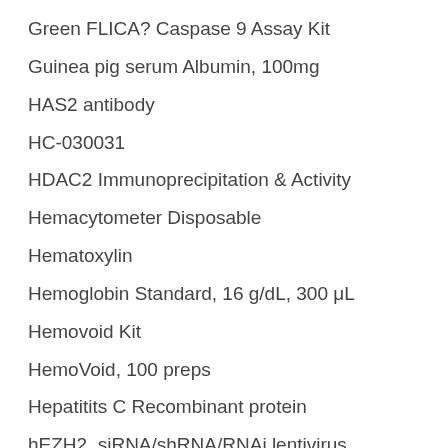Green FLICA? Caspase 9 Assay Kit
Guinea pig serum Albumin, 100mg
HAS2 antibody
HC-030031
HDAC2 Immunoprecipitation & Activity
Hemacytometer Disposable
Hematoxylin
Hemoglobin Standard, 16 g/dL, 300 μL
Hemovoid Kit
HemoVoid, 100 preps
Hepatitits C Recombinant protein
hEZH2, siRNA/shRNA/RNAi lentivirus